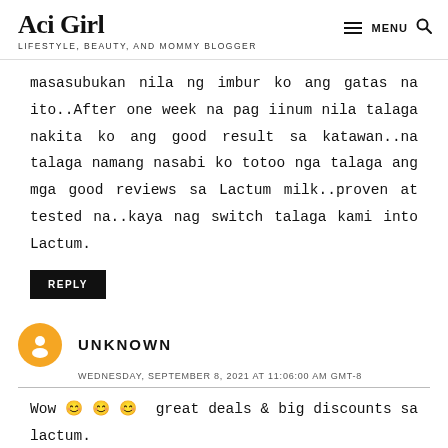Aci Girl | LIFESTYLE, BEAUTY, AND MOMMY BLOGGER
masasubukan nila ng imbur ko ang gatas na ito..After one week na pag iinum nila talaga nakita ko ang good result sa katawan..na talaga namang nasabi ko totoo nga talaga ang mga good reviews sa Lactum milk..proven at tested na..kaya nag switch talaga kami into Lactum.
REPLY
UNKNOWN
WEDNESDAY, SEPTEMBER 8, 2021 AT 11:06:00 AM GMT-8
Wow 😊 😊 😊 great deals & big discounts sa lactum.